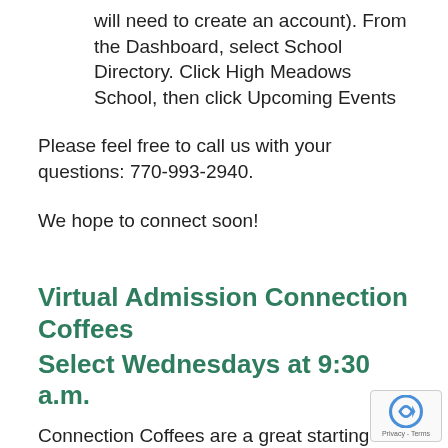will need to create an account). From the Dashboard, select School Directory. Click High Meadows School, then click Upcoming Events
Please feel free to call us with your questions: 770-993-2940.
We hope to connect soon!
Virtual Admission Connection Coffees Select Wednesdays at 9:30 a.m.
Connection Coffees are a great starting point for families seeking to learn more about High Meadows School. These virtual online gatherings will allow you to visit members of our Educational Leadership and Admissions